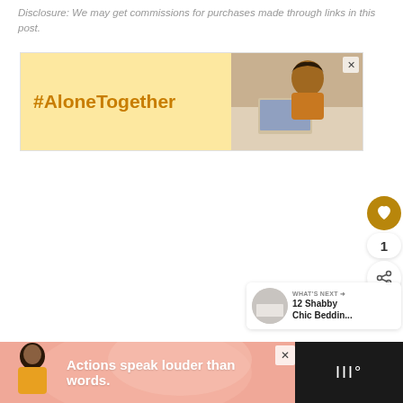Disclosure: We may get commissions for purchases made through links in this post.
[Figure (infographic): #AloneTogether advertisement banner with yellow/gold background on left side showing hashtag text in orange, and a photo of a woman at a laptop on the right side]
[Figure (infographic): Sidebar social buttons: heart/like button (gold circle), count '1', and share button]
[Figure (infographic): What's Next panel showing a thumbnail image and text 'WHAT'S NEXT → 12 Shabby Chic Beddin...']
[Figure (infographic): Bottom advertisement bar on dark background with pink section showing a person figure and text 'Actions speak louder than words.' with a logo on the right]